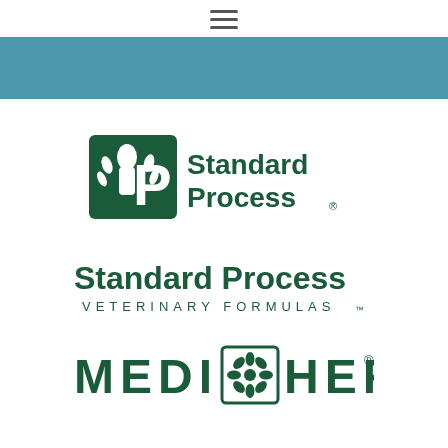[Figure (logo): Hamburger menu icon (three horizontal lines)]
[Figure (logo): Standard Process main logo with SP icon and green text]
[Figure (logo): Standard Process Veterinary Formulas logo in dark green]
[Figure (logo): MediHerb logo in dark green with flower icon]